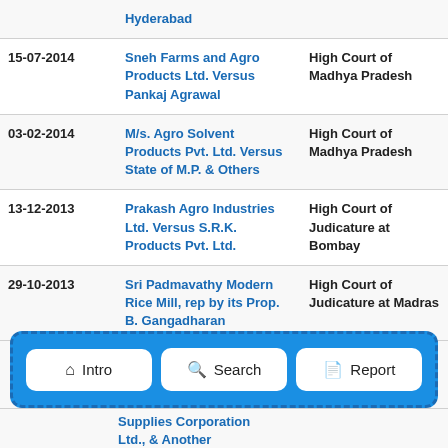| Date | Case | Court |
| --- | --- | --- |
|  | Hyderabad |  |
| 15-07-2014 | Sneh Farms and Agro Products Ltd. Versus Pankaj Agrawal | High Court of Madhya Pradesh |
| 03-02-2014 | M/s. Agro Solvent Products Pvt. Ltd. Versus State of M.P. & Others | High Court of Madhya Pradesh |
| 13-12-2013 | Prakash Agro Industries Ltd. Versus S.R.K. Products Pvt. Ltd. | High Court of Judicature at Bombay |
| 29-10-2013 | Sri Padmavathy Modern Rice Mill, rep by its Prop. B. Gangadharan | High Court of Judicature at Madras |
[Figure (infographic): Navigation bar with three buttons: Intro (home icon), Search (magnifier icon), Report (document icon), on a blue dashed-border background]
Supplies Corporation Ltd., & Another